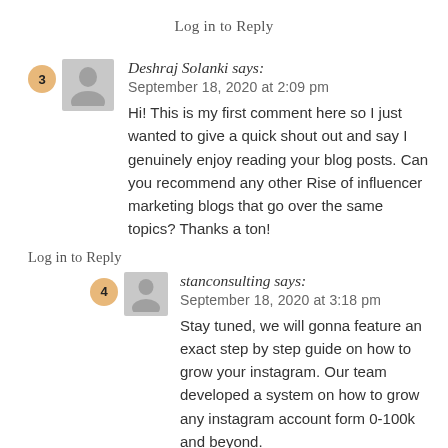Log in to Reply
Deshraj Solanki says:
September 18, 2020 at 2:09 pm
Hi! This is my first comment here so I just wanted to give a quick shout out and say I genuinely enjoy reading your blog posts. Can you recommend any other Rise of influencer marketing blogs that go over the same topics? Thanks a ton!
Log in to Reply
stanconsulting says:
September 18, 2020 at 3:18 pm
Stay tuned, we will gonna feature an exact step by step guide on how to grow your instagram. Our team developed a system on how to grow any instagram account form 0-100k and beyond.